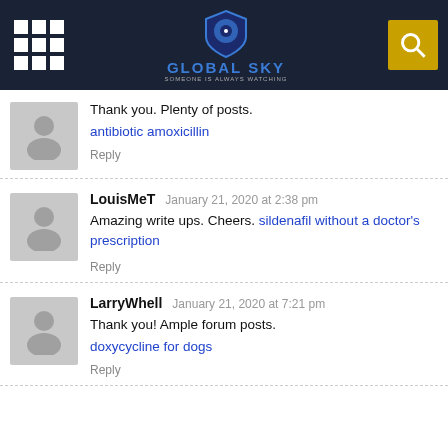GLOBAL SKY — SOMEONE IS ALWAYS WATCHING
Thank you. Plenty of posts. antibiotic amoxicillin Reply
LouisMeT January 21, 2020 at 2:38 pm Amazing write ups. Cheers. sildenafil without a doctor's prescription Reply
LarryWhell January 21, 2020 at 7:21 pm Thank you! Ample forum posts. doxycycline for dogs Reply